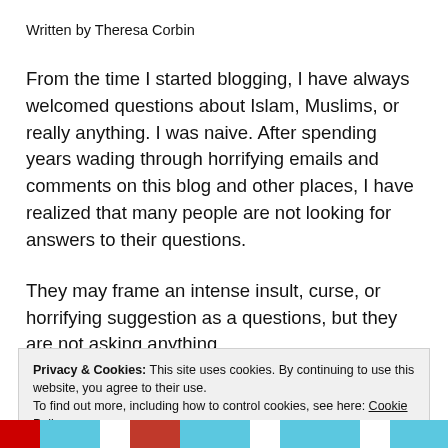Written by Theresa Corbin
From the time I started blogging, I have always welcomed questions about Islam, Muslims, or really anything. I was naive. After spending years wading through horrifying emails and comments on this blog and other places, I have realized that many people are not looking for answers to their questions.
They may frame an intense insult, curse, or horrifying suggestion as a questions, but they are not asking anything.
Privacy & Cookies: This site uses cookies. By continuing to use this website, you agree to their use. To find out more, including how to control cookies, see here: Cookie Policy
Close and accept